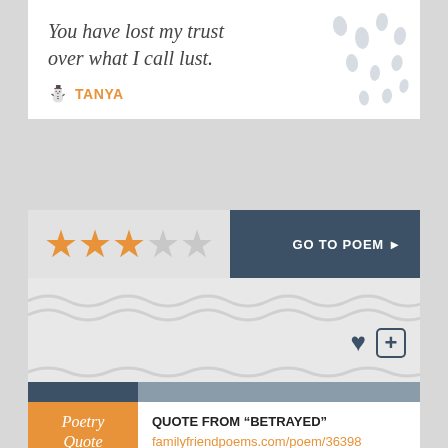You have lost my trust over what I call lust.
TANYA
[Figure (other): Star rating showing 3 out of 5 orange stars followed by 2 grey stars, with 'GO TO POEM ►' button on dark teal background]
[Figure (other): Wavy line decorative separator on light grey background with heart icon and plus icon box]
QUOTE FROM "BETRAYED"
familyfriendpoems.com/poem/36398